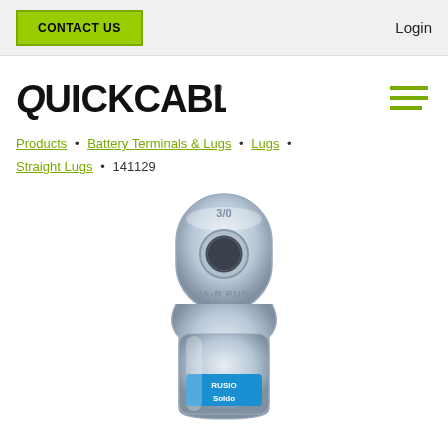CONTACT US | Login
[Figure (logo): QuickCable logo in bold black stylized font with registered trademark symbol]
Products • Battery Terminals & Lugs • Lugs • Straight Lugs • 141129
[Figure (photo): Silver metallic straight lug terminal (product 141129) with circular mounting hole at top stamped with '3/0' and 'IA-R PUR' text. Blue label at bottom reads 'Rusion Soldo'. Product is shown vertically oriented against white background.]